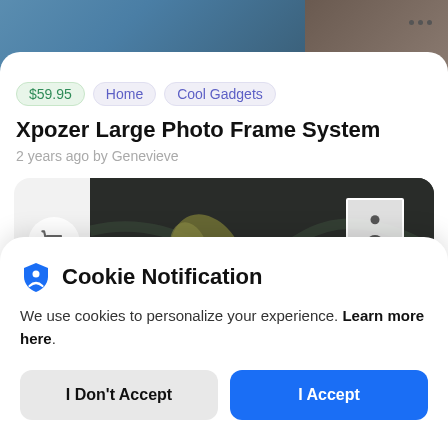[Figure (screenshot): Top portion of a mobile app screen showing a product page header with a photo of a room interior and a three-dot menu icon]
$59.95  Home  Cool Gadgets
Xpozer Large Photo Frame System
2 years ago by Genevieve
[Figure (screenshot): Product card with a shopping cart icon and a dark product image showing a map-style photo frame with a white insert frame]
Cookie Notification
We use cookies to personalize your experience. Learn more here.
I Don't Accept
I Accept